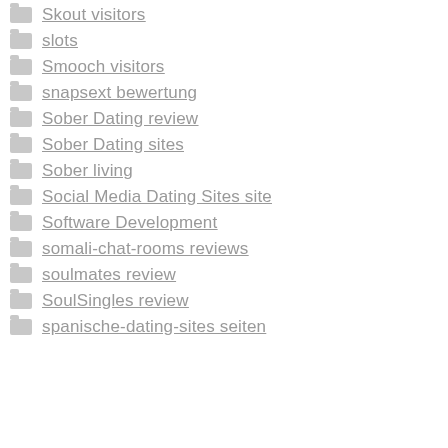Skout visitors
slots
Smooch visitors
snapsext bewertung
Sober Dating review
Sober Dating sites
Sober living
Social Media Dating Sites site
Software Development
somali-chat-rooms reviews
soulmates review
SoulSingles review
spanische-dating-sites seiten